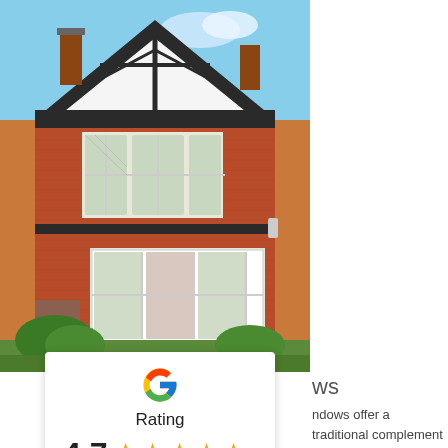[Figure (photo): Exterior photo of a traditional British red brick Tudor-style detached house with white bay windows, black timber framing on the upper gable, chimneys, and green garden shrubs in the foreground under a blue sky.]
ws
[Figure (infographic): Google rating card overlay showing the Google 'G' logo, the label 'Rating', a score of 4.7 with five gold stars, and a link 'Read our 64 reviews'.]
ndows offer a traditional complement your home's